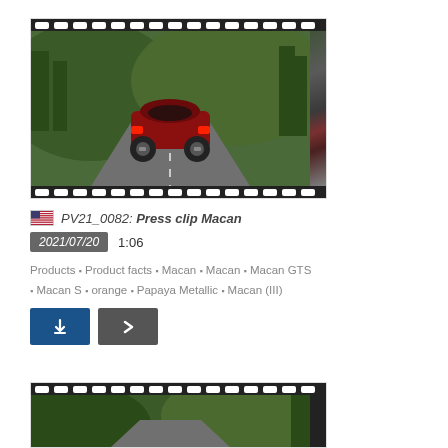[Figure (photo): Video thumbnail showing a red Porsche Macan GTS driving on a mountain road with green trees, framed by film strip sprocket holes top and bottom.]
PV21_0082: Press clip Macan
2021/07/20  1:06
Products • Product facts • Macan • Macan • Macan GTS • Macan S • orange • Papaya Metallic • Macan (III)
[Figure (screenshot): Download button (blue) and next arrow button (grey).]
[Figure (photo): Partial video thumbnail at bottom of page showing a car on a road with green trees, framed by film strip sprocket holes.]